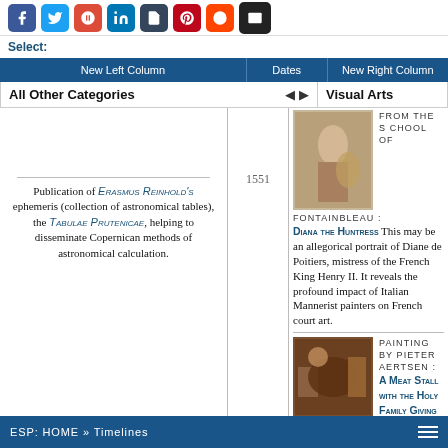Social share icons: Facebook, Twitter, Google+, LinkedIn, Tumblr, Pinterest, Reddit, Email
Select:
| New Left Column | Dates | New Right Column |
| --- | --- | --- |
| All Other Categories | ◄ ► | Visual Arts |
[Figure (photo): Painting from the School of Fontainebleau: Diana the Huntress]
FROM THE SCHOOL OF FONTAINBLEAU: DIANA THE HUNTRESS This may be an allegorical portrait of Diane de Poitiers, mistress of the French King Henry II. It reveals the profound impact of Italian Mannerist painters on French court art.
1551
Publication of ERASMUS REINHOLD'S ephemeris (collection of astronomical tables), the Tabulae Prutenicae, helping to disseminate Copernican methods of astronomical calculation.
[Figure (photo): Painting by Pieter Aertsen: A Meat Stall with the Holy Family Giving Alms]
PAINTING BY PIETER AERTSEN: A MEAT STALL WITH THE HOLY FAMILY GIVING ALMS A large painting, it depicts a peasant market scene, with an abundance of meats and other foods. In the background, it shows a scene from the biblical theme of the Giving of Alms.
ESP: HOME » Timelines